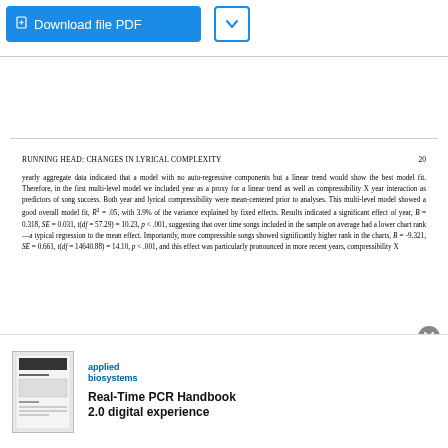RUNNING HEAD: CHANGES IN LYRICAL COMPLEXITY	20
yearly aggregate data indicated that a model with no auto-regressive components but a linear trend would show the best model fit. Therefore, in the first multi-level model we included year as a proxy for a linear trend as well as compressibility X year interaction as predictors of song success. Both year and lyrical compressibility were mean-centered prior to analyses. This multi-level model showed a good overall model fit, R² = .05, with 3.9% of the variance explained by fixed effects. Results indicated a significant effect of year, B = 0.318, SE = 0.031, t(df = 57.29) = 10.23, p < .001, suggesting that over time songs included in the sample on average had a lower chart rank—a typical regression to the mean effect. Importantly, more compressible songs showed significantly higher rank in the charts, B = -9.321, SE = 0.661, t(df = 14640.88) = 14.10, p < .001, and this effect was particularly pronounced in more recent years, compressibility X
[Figure (other): Advertisement: Applied Biosystems Real-Time PCR Handbook 2.0 digital experience]